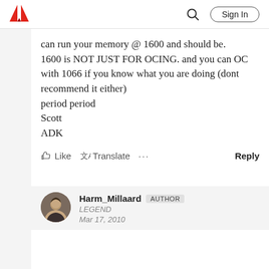Adobe (logo) | Search | Sign In
can run your memory @ 1600 and should be.
1600 is NOT JUST FOR OCING. and you can OC with 1066 if you know what you are doing (dont recommend it either)
period period
Scott
ADK
Like  Translate  ...  Reply
Harm_Millaard  AUTHOR
LEGEND
Mar 17, 2010